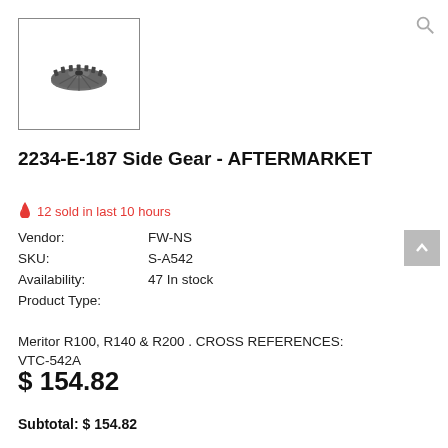[Figure (photo): Photo of a bevel side gear (2234-E-187), dark metal gear with teeth, shown in a bordered square image box]
2234-E-187 Side Gear - AFTERMARKET
🔥 12 sold in last 10 hours
| Vendor: | FW-NS |
| SKU: | S-A542 |
| Availability: | 47 In stock |
| Product Type: |  |
Meritor R100, R140 & R200 . CROSS REFERENCES: VTC-542A
$ 154.82
Subtotal: $ 154.82